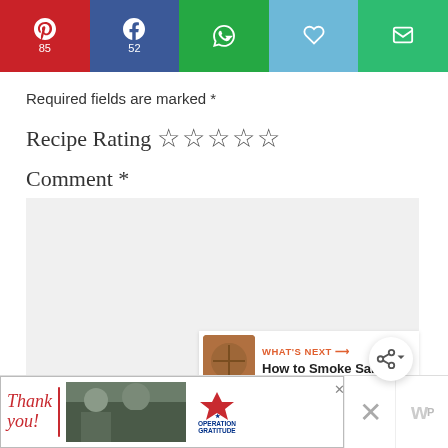[Figure (infographic): Social share bar with Pinterest (85), Facebook (52), WhatsApp, heart/save, and email buttons]
Required fields are marked *
Recipe Rating ☆☆☆☆☆
Comment *
[Figure (screenshot): Empty comment text area input box with light grey background]
[Figure (infographic): Floating share button (circular, white with share icon)]
[Figure (infographic): What's Next panel with salmon thumbnail and text 'How to Smoke Salmon']
[Figure (infographic): Advertisement banner: Operation Gratitude 'Thank you' ad with close button]